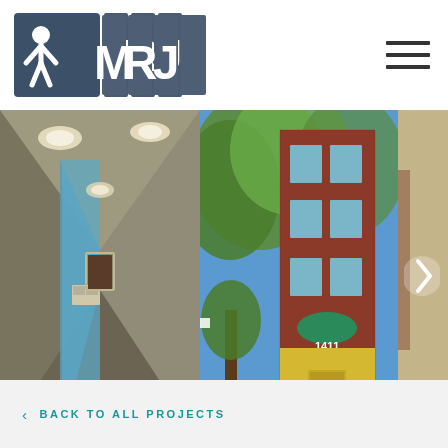[Figure (logo): MRJ logo with stylized figure icon and bold letters M R J on dark blue/grey background]
[Figure (photo): Interior corridor of a building with blue accent walls, ceiling lights, and carpeted floor]
[Figure (photo): Exterior of a multi-story red brick apartment building with green awning, yellow door, and trees; address 1411 visible]
[Figure (photo): Partial view of building interior, right edge of image strip]
< BACK TO ALL PROJECTS